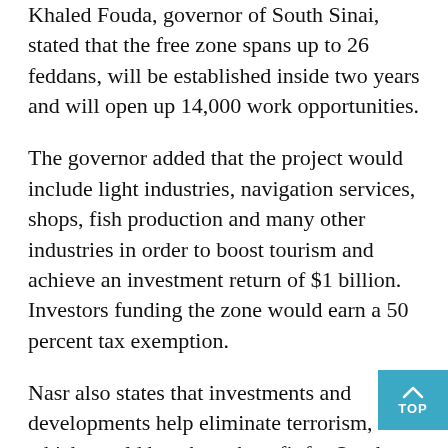Khaled Fouda, governor of South Sinai, stated that the free zone spans up to 26 feddans, will be established inside two years and will open up 14,000 work opportunities.
The governor added that the project would include light industries, navigation services, shops, fish production and many other industries in order to boost tourism and achieve an investment return of $1 billion. Investors funding the zone would earn a 50 percent tax exemption.
Nasr also states that investments and developments help eliminate terrorism, which would be a huge benefit for South Sinai in view of its vulnerability to attack.
Last March, Nasr signed five agreements worth EGP 5 billion with the Kuwait Fund for Arab Economic Development to fund development in Sinai. The fi agreement worth 60 million Kuwaiti Dinar is funding